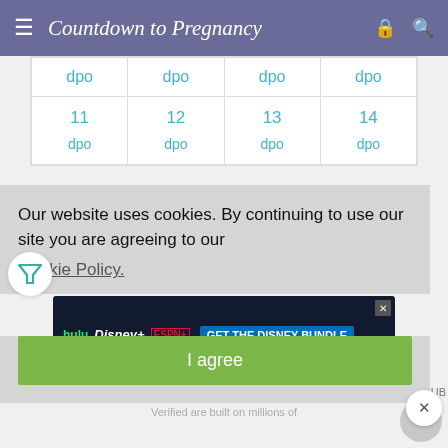Countdown to Pregnancy
| dpo | dpo | dpo | dpo |
| --- | --- | --- | --- |
| 11 dpo | 12 dpo | 13 dpo | 14 dpo |
Learn more →
Our website uses cookies. By continuing to use our site you are agreeing to our Cookie Policy.
I agree
[Figure (screenshot): Disney Bundle advertisement banner showing Hulu, Disney+, ESPN+ logos with 'GET THE DISNEY BUNDLE' call to action]
Verified ... are built on millions of ...